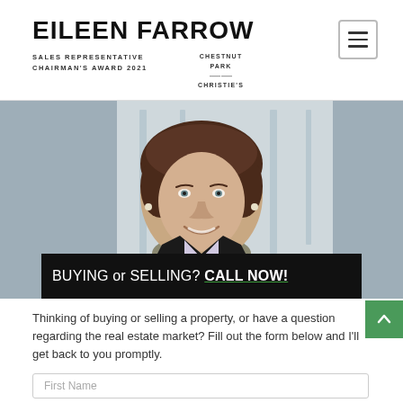EILEEN FARROW
SALES REPRESENTATIVE   CHESTNUT PARK
CHAIRMAN'S AWARD 2021   CHRISTIE'S
[Figure (photo): Professional headshot of Eileen Farrow, a woman with brown hair wearing a dark jacket and scarf, smiling, with blurred background]
BUYING OR SELLING? CALL NOW!
Thinking of buying or selling a property, or have a question regarding the real estate market? Fill out the form below and I'll get back to you promptly.
First Name
Last Name